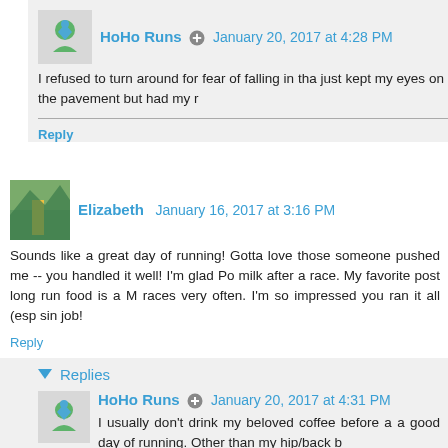HoHo Runs  January 20, 2017 at 4:28 PM
I refused to turn around for fear of falling in tha just kept my eyes on the pavement but had my r
Reply
Elizabeth  January 16, 2017 at 3:16 PM
Sounds like a great day of running! Gotta love those someone pushed me -- you handled it well! I'm glad Po milk after a race. My favorite post long run food is a M races very often. I'm so impressed you ran it all (esp sin job!
Reply
Replies
HoHo Runs  January 20, 2017 at 4:31 PM
I usually don't drink my beloved coffee before a a good day of running. Other than my hip/back b